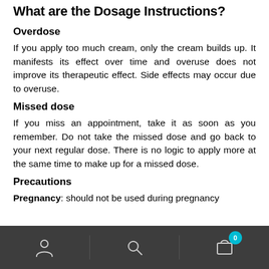What are the Dosage Instructions?
Overdose
If you apply too much cream, only the cream builds up. It manifests its effect over time and overuse does not improve its therapeutic effect. Side effects may occur due to overuse.
Missed dose
If you miss an appointment, take it as soon as you remember. Do not take the missed dose and go back to your next regular dose. There is no logic to apply more at the same time to make up for a missed dose.
Precautions
Pregnancy: should not be used during pregnancy
Navigation bar with user, search, and cart icons